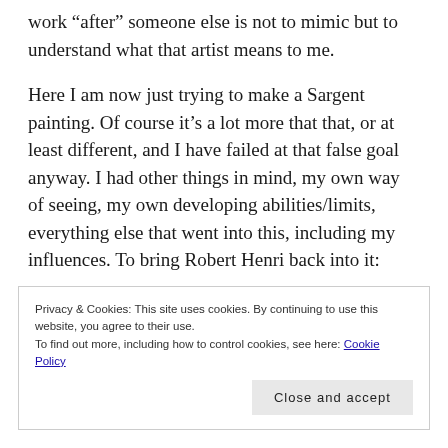work “after” someone else is not to mimic but to understand what that artist means to me.
Here I am now just trying to make a Sargent painting. Of course it’s a lot more that that, or at least different, and I have failed at that false goal anyway. I had other things in mind, my own way of seeing, my own developing abilities/limits, everything else that went into this, including my influences. To bring Robert Henri back into it:
Privacy & Cookies: This site uses cookies. By continuing to use this website, you agree to their use.
To find out more, including how to control cookies, see here: Cookie Policy
Close and accept